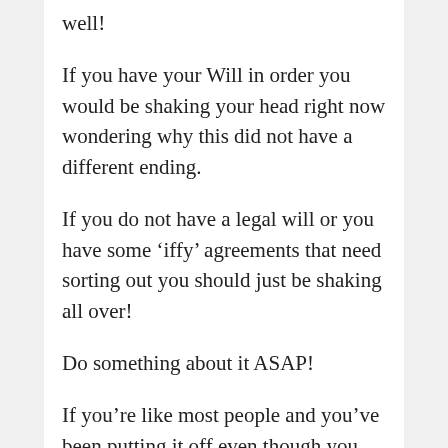well!
If you have your Will in order you would be shaking your head right now wondering why this did not have a different ending.
If you do not have a legal will or you have some ‘iffy’ agreements that need sorting out you should just be shaking all over!
Do something about it ASAP!
If you’re like most people and you’ve been putting it off even though you know you need a Will and you’ve been meaning to do it for a while do something about it